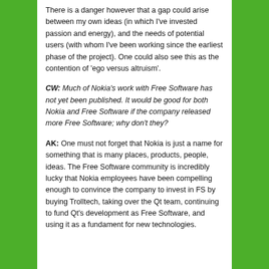There is a danger however that a gap could arise between my own ideas (in which I've invested passion and energy), and the needs of potential users (with whom I've been working since the earliest phase of the project). One could also see this as the contention of 'ego versus altruism'.
CW: Much of Nokia's work with Free Software has not yet been published. It would be good for both Nokia and Free Software if the company released more Free Software; why don't they?
AK: One must not forget that Nokia is just a name for something that is many places, products, people, ideas. The Free Software community is incredibly lucky that Nokia employees have been compelling enough to convince the company to invest in FS by buying Trolltech, taking over the Qt team, continuing to fund Qt's development as Free Software, and using it as a fundament for new technologies.